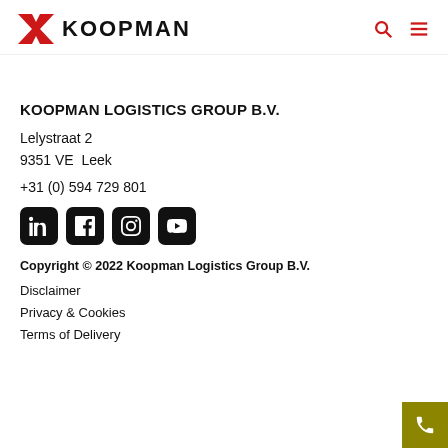KOOPMAN
KOOPMAN LOGISTICS GROUP B.V.
Lelystraat 2
9351 VE  Leek
+31 (0) 594 729 801
[Figure (other): Four social media icons: LinkedIn, Facebook, Instagram, YouTube — white icons on black rounded square backgrounds]
Copyright © 2022 Koopman Logistics Group B.V.
Disclaimer
Privacy & Cookies
Terms of Delivery